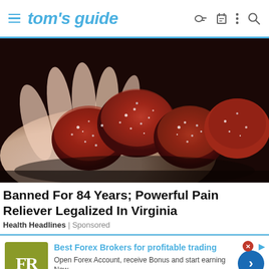tom's guide
[Figure (photo): A hand holding several dark red sugary gummy candies coated in sugar crystals, close-up macro photo]
Banned For 84 Years; Powerful Pain Reliever Legalized In Virginia
Health Headlines | Sponsored
Best Forex Brokers for profitable trading
Open Forex Account, receive Bonus and start earning Now
forex-ratings.com